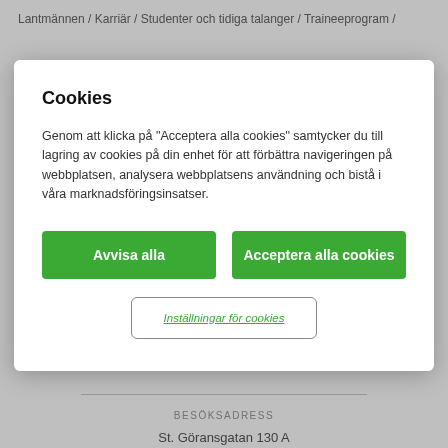Lantmännen / Karriär / Studenter och tidiga talanger / Traineeprogram /
Cookies
Genom att klicka på "Acceptera alla cookies" samtycker du till lagring av cookies på din enhet för att förbättra navigeringen på webbplatsen, analysera webbplatsens användning och bistå i våra marknadsföringsinsatser.
Avvisa alla
Acceptera alla cookies
Inställningar för cookies
Lantmännens leverantörsportal
Identitetsmanual och sponsring
BESÖKSADRESS